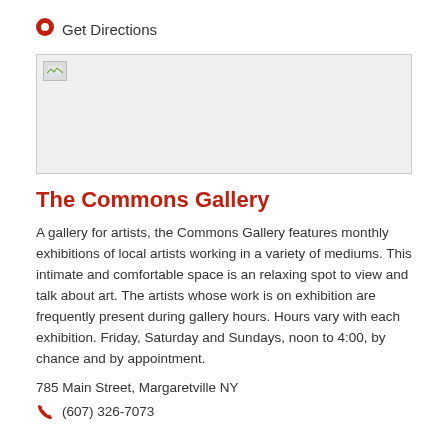Get Directions
[Figure (map): Map image placeholder (broken image icon visible in top-left corner of grey map area)]
The Commons Gallery
A gallery for artists, the Commons Gallery features monthly exhibitions of local artists working in a variety of mediums. This intimate and comfortable space is an relaxing spot to view and talk about art. The artists whose work is on exhibition are frequently present during gallery hours. Hours vary with each exhibition. Friday, Saturday and Sundays, noon to 4:00, by chance and by appointment.
785 Main Street, Margaretville NY
(607) 326-7073